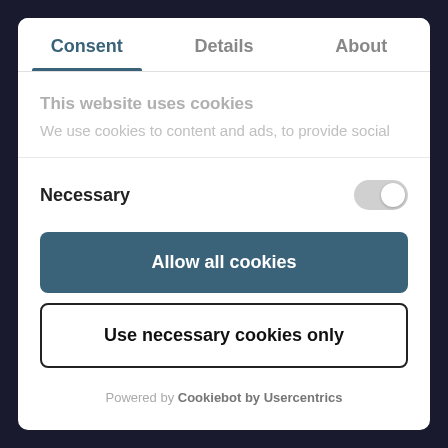Consent | Details | About
This website uses cookies
We use cookies to content and ads, to provide social
Necessary
Allow all cookies
Use necessary cookies only
Powered by Cookiebot by Usercentrics